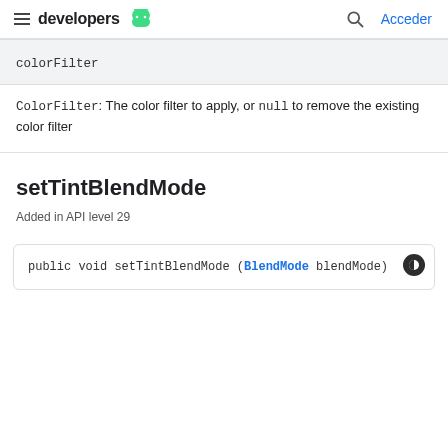developers (Android logo) | Acceder
colorFilter
ColorFilter: The color filter to apply, or null to remove the existing color filter
setTintBlendMode
Added in API level 29
public void setTintBlendMode (BlendMode blendMode)